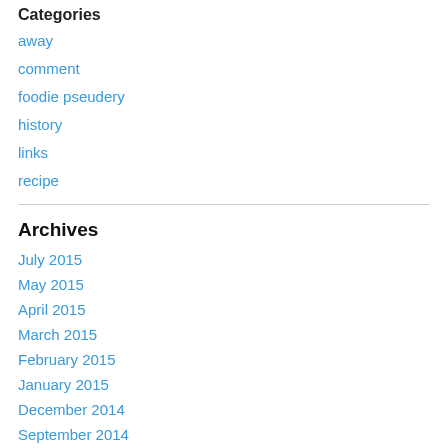Categories
away
comment
foodie pseudery
history
links
recipe
Archives
July 2015
May 2015
April 2015
March 2015
February 2015
January 2015
December 2014
September 2014
August 2014